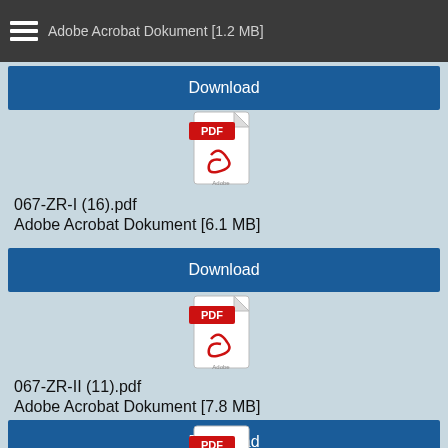Adobe Acrobat Dokument [1.2 MB]
Download
[Figure (illustration): PDF file icon with red PDF label badge]
067-ZR-I (16).pdf
Adobe Acrobat Dokument [6.1 MB]
Download
[Figure (illustration): PDF file icon with red PDF label badge]
067-ZR-II (11).pdf
Adobe Acrobat Dokument [7.8 MB]
Download
[Figure (illustration): PDF file icon with red PDF label badge (partially visible)]